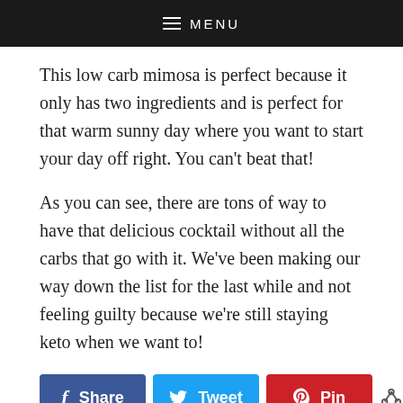MENU
This low carb mimosa is perfect because it only has two ingredients and is perfect for that warm sunny day where you want to start your day off right. You can't beat that!
As you can see, there are tons of way to have that delicious cocktail without all the carbs that go with it. We've been making our way down the list for the last while and not feeling guilty because we're still staying keto when we want to!
Share | Tweet | Pin | 40 SHARES
IN: DRINKS